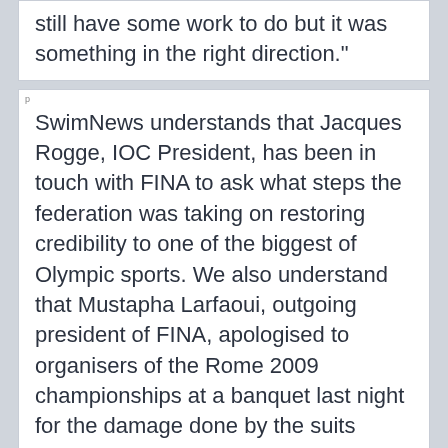still have some work to do but it was something in the right direction."
SwimNews understands that Jacques Rogge, IOC President, has been in touch with FINA to ask what steps the federation was taking on restoring credibility to one of the biggest of Olympic sports. We also understand that Mustapha Larfaoui, outgoing president of FINA, apologised to organisers of the Rome 2009 championships at a banquet last night for the damage done by the suits crisis.
They also understand that...